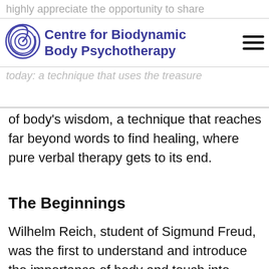highly appreciate the opportunity to share some of the most important techniques today: a technique that uses the treasure
[Figure (logo): Centre for Biodynamic Body Psychotherapy logo — a spiral eye symbol with navy/blue text]
of body's wisdom, a technique that reaches far beyond words to find healing, where pure verbal therapy gets to its end.
The Beginnings
Wilhelm Reich, student of Sigmund Freud, was the first to understand and introduce the importance of body and touch into psychotherapy. He laid the foundation for modern body psychotherapy. Gerda